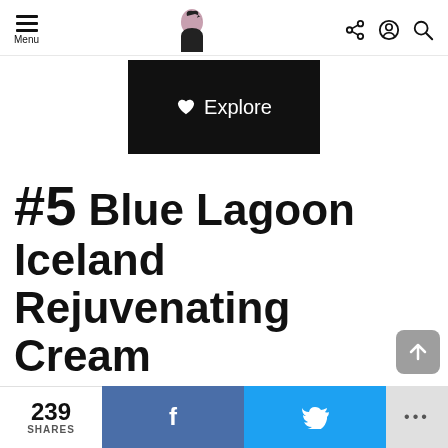Menu | Logo | Share, Account, Search icons
[Figure (screenshot): Black banner with white heart icon and 'Explore' text]
#5 Blue Lagoon Iceland Rejuvenating Cream
239 SHARES
[Figure (infographic): Bottom bar with Facebook share button, Twitter share button, and more options (...)]